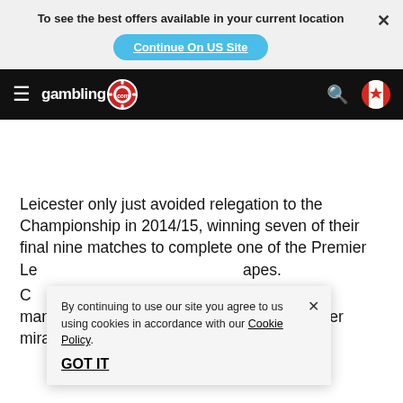To see the best offers available in your current location
Continue On US Site
[Figure (screenshot): gambling.com navigation bar with hamburger menu, logo, search icon, and Canadian flag]
Leicester only just avoided relegation to the Championship in 2014/15, winning seven of their final nine matches to complete one of the Premier Le... apes.
C... on as manager in th... bigger miracle in 2015/16.
By continuing to use our site you agree to us using cookies in accordance with our Cookie Policy. GOT IT